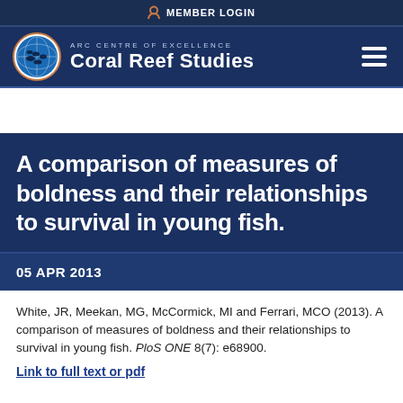MEMBER LOGIN
[Figure (logo): ARC Centre of Excellence Coral Reef Studies logo with circular emblem showing fish and globe]
A comparison of measures of boldness and their relationships to survival in young fish.
05 APR 2013
White, JR, Meekan, MG, McCormick, MI and Ferrari, MCO (2013). A comparison of measures of boldness and their relationships to survival in young fish. PloS ONE 8(7): e68900.
Link to full text or pdf